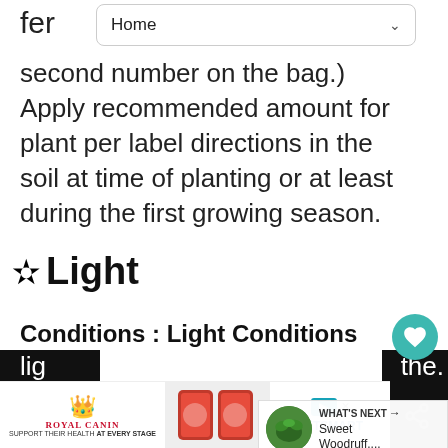Home
second number on the bag.) Apply recommended amount for plant per label directions in the soil at time of planting or at least during the first growing season.
☀ Light
Conditions : Light Conditions
Unless a site is completely exposed, light conditions will change during the day and even during the year. The northern and eastern sides of a house receive the least amount of light
[Figure (screenshot): What's Next overlay showing Sweet Woodruff plant thumbnail]
[Figure (screenshot): Advertisement banner: Royal Canin - Support Their Health At Every Stage with PetSmart logo]